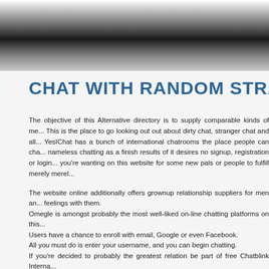[Figure (other): Dark gradient header bar across the top of the page, transitioning from white at top to black then gray]
CHAT WITH RANDOM STRANGERS
The objective of this Alternative directory is to supply comparable kinds of me... This is the place to go looking out out about dirty chat, stranger chat and all... YesIChat has a bunch of international chatrooms the place people can cha... nameless chatting as a finish results of it desires no signup, registration or login... you're wanting on this website for some new pals or people to fulfill merely merel...
The website online additionally offers grownup relationship suppliers for men an... feelings with them.
Omegle is amongst probably the most well-liked on-line chatting platforms on this...
Users have a chance to enroll with email, Google or even Facebook.
All you must do is enter your username, and you can begin chatting.
If you're decided to probably the greatest relation be part of free Chatblink Interna...
Chatblink heavily promotes itself as the best place to speak with strangers and... you save plenty of time. As far as random chat sites are concerned, chat blink h...
The good issue about this app is that it hides your precise chatblinks identifica...